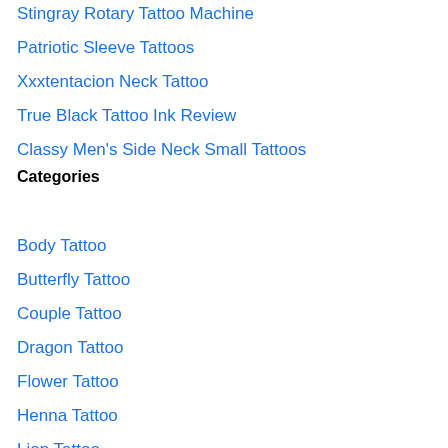Stingray Rotary Tattoo Machine
Patriotic Sleeve Tattoos
Xxxtentacion Neck Tattoo
True Black Tattoo Ink Review
Classy Men's Side Neck Small Tattoos
Categories
Body Tattoo
Butterfly Tattoo
Couple Tattoo
Dragon Tattoo
Flower Tattoo
Henna Tattoo
Lion Tattoo
Rose Tattoo